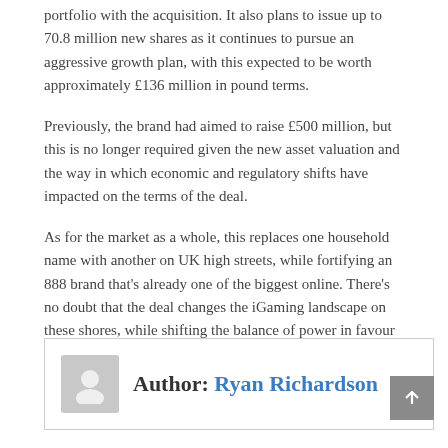portfolio with the acquisition. It also plans to issue up to 70.8 million new shares as it continues to pursue an aggressive growth plan, with this expected to be worth approximately £136 million in pound terms.
Previously, the brand had aimed to raise £500 million, but this is no longer required given the new asset valuation and the way in which economic and regulatory shifts have impacted on the terms of the deal.
As for the market as a whole, this replaces one household name with another on UK high streets, while fortifying an 888 brand that's already one of the biggest online. There's no doubt that the deal changes the iGaming landscape on these shores, while shifting the balance of power in favour of 888.
Tagged 888s, Changing, Hill, Purchase, William
Author: Ryan Richardson